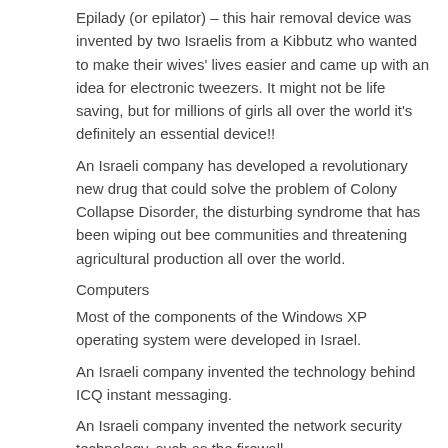Epilady (or epilator) – this hair removal device was invented by two Israelis from a Kibbutz who wanted to make their wives' lives easier and came up with an idea for electronic tweezers. It might not be life saving, but for millions of girls all over the world it's definitely an essential device!!
An Israeli company has developed a revolutionary new drug that could solve the problem of Colony Collapse Disorder, the disturbing syndrome that has been wiping out bee communities and threatening agricultural production all over the world.
Computers
Most of the components of the Windows XP operating system were developed in Israel.
An Israeli company invented the technology behind ICQ instant messaging.
An Israeli company invented the network security technology, such as the firewall.
The first PC anti-virus was invented in Israel.